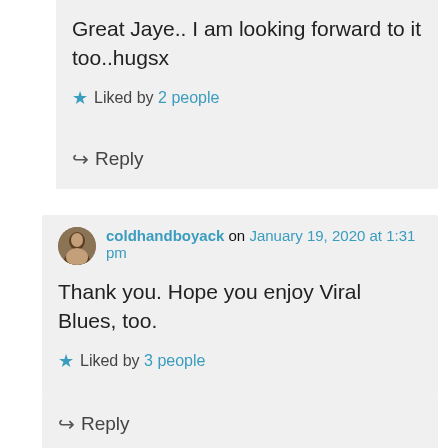Great Jaye.. I am looking forward to it too..hugsx
Liked by 2 people
Reply
coldhandboyack on January 19, 2020 at 1:31 pm
Thank you. Hope you enjoy Viral Blues, too.
Liked by 3 people
Reply
jenanita01 on January 19, 2020 at 9:24 am